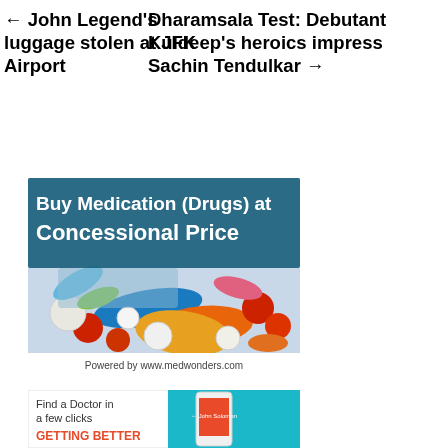← John Legend's luggage stolen at JFK Airport
Dharamsala Test: Debutant Kuldeep's heroics impress Sachin Tendulkar →
[Figure (photo): Advertisement banner showing colorful pills and capsules with text 'Buy Medication (Drugs) at Concessional Price' and 'Powered by www.medwonders.com']
[Figure (photo): Advertisement showing 'Find a Doctor in a few clicks GETTING BETTER' with a smartphone image on teal background]